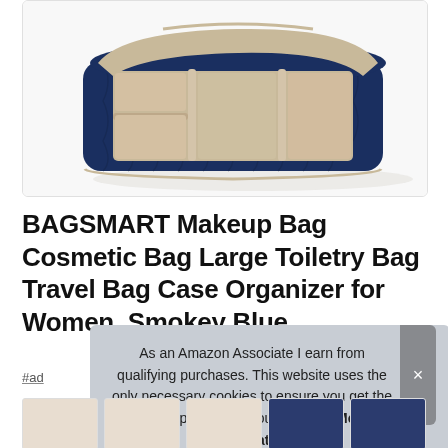[Figure (photo): BAGSMART navy blue quilted makeup/cosmetic bag open top showing beige interior compartments and dividers]
BAGSMART Makeup Bag Cosmetic Bag Large Toiletry Bag Travel Bag Case Organizer for Women, Smokey Blue
#ad
As an Amazon Associate I earn from qualifying purchases. This website uses the only necessary cookies to ensure you get the best experience on our website. More information
[Figure (photo): Thumbnail strip showing multiple product images of the makeup bag]